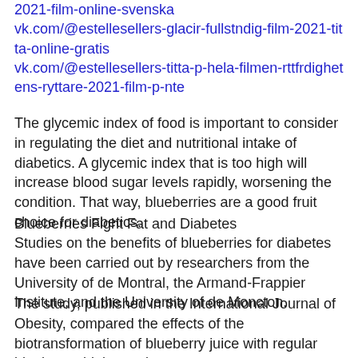2021-film-online-svenska vk.com/@estellesellers-glacir-fullstndig-film-2021-titta-online-gratis vk.com/@estellesellers-titta-p-hela-filmen-rttfrdighetens-ryttare-2021-film-p-nte
The glycemic index of food is important to consider in regulating the diet and nutritional intake of diabetics. A glycemic index that is too high will increase blood sugar levels rapidly, worsening the condition. That way, blueberries are a good fruit choice for diabetics.
Blueberries Fight Fat and Diabetes
Studies on the benefits of blueberries for diabetes have been carried out by researchers from the University of de Montral, the Armand-Frappier Institute, and the University of de Moncton.
The study, published in the International Journal of Obesity, compared the effects of the biotransformation of blueberry juice with regular blueberry drink on mice.